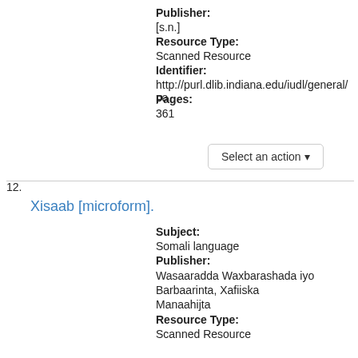Publisher:
[s.n.]
Resource Type:
Scanned Resource
Identifier:
http://purl.dlib.indiana.edu/iudl/general/pa
Pages:
361
Select an action
12.
Xisaab [microform].
Subject:
Somali language
Publisher:
Wasaaradda Waxbarashada iyo Barbaarinta, Xafiiska Manaahijta
Resource Type:
Scanned Resource